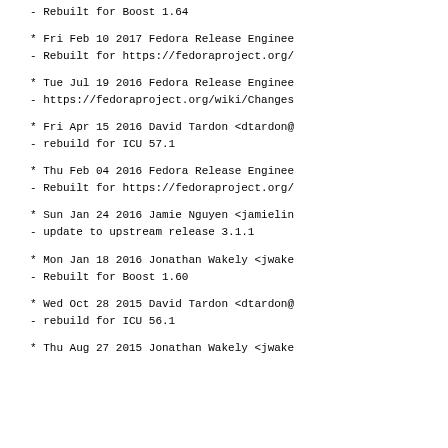- Rebuilt for Boost 1.64
* Fri Feb 10 2017 Fedora Release Enginee
- Rebuilt for https://fedoraproject.org/
* Tue Jul 19 2016 Fedora Release Enginee
- https://fedoraproject.org/wiki/Changes
* Fri Apr 15 2016 David Tardon <dtardon@
- rebuild for ICU 57.1
* Thu Feb 04 2016 Fedora Release Enginee
- Rebuilt for https://fedoraproject.org/
* Sun Jan 24 2016 Jamie Nguyen <jamielin
- update to upstream release 3.1.1
* Mon Jan 18 2016 Jonathan Wakely <jwake
- Rebuilt for Boost 1.60
* Wed Oct 28 2015 David Tardon <dtardon@
- rebuild for ICU 56.1
* Thu Aug 27 2015 Jonathan Wakely <jwake